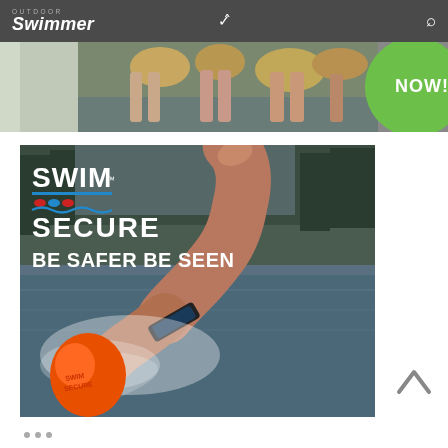Outdoor Swimmer
[Figure (photo): Top banner advertisement showing people standing at water's edge with rocks, partially visible magazine cover on left, and a green circular badge with 'NOW!' text on right]
[Figure (photo): Swim Secure advertisement showing a swimmer doing freestyle stroke in open water with an orange safety buoy, overlaid with Swim Secure logo and tagline 'BE SAFER BE SEEN']